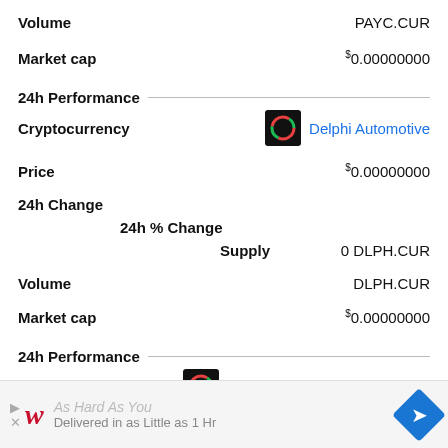Volume | PAYC.CUR
Market cap | $0.00000000
24h Performance
Cryptocurrency | Delphi Automotive
Price | $0.00000000
24h Change
24h % Change
Supply | 0 DLPH.CUR
Volume | DLPH.CUR
Market cap | $0.00000000
24h Performance
Cryptocurrency | Alibaba Group Holding Limited